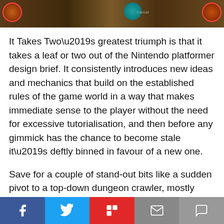[Figure (screenshot): Game screenshot showing dark brown environment with circular character portraits at corners and teal element, with a cancel label visible]
It Takes Two’s greatest triumph is that it takes a leaf or two out of the Nintendo platformer design brief. It consistently introduces new ideas and mechanics that build on the established rules of the game world in a way that makes immediate sense to the player without the need for excessive tutorialisation, and then before any gimmick has the chance to become stale it’s deftly binned in favour of a new one.
Save for a couple of stand-out bits like a sudden pivot to a top-down dungeon crawler, mostly everything works within the realms of the game’s baseline platforming controls and physics, which themselves are solid as hell. New sections of the game then
[Figure (other): Social sharing bar with Facebook, Twitter, Flipboard, Email, and Comment buttons]